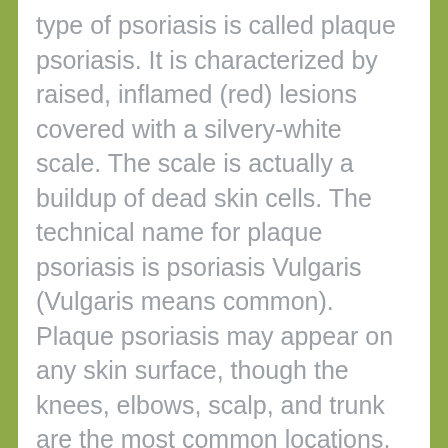type of psoriasis is called plaque psoriasis. It is characterized by raised, inflamed (red) lesions covered with a silvery-white scale. The scale is actually a buildup of dead skin cells. The technical name for plaque psoriasis is psoriasis Vulgaris (Vulgaris means common). Plaque psoriasis may appear on any skin surface, though the knees, elbows, scalp, and trunk are the most common locations.
Guttate Psoriasis: Guttate psoriasis is characterized by small red dots (or drops) of psoriasis. It often appears on the trunk, arms, and legs. The lesions may have some scale